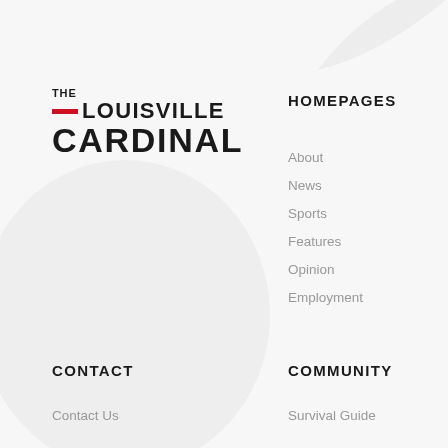[Figure (logo): The Louisville Cardinal logo with red bar accent, bold black uppercase text]
HOMEPAGES
About
News
Sports
Features
Opinion
Employment
CONTACT
COMMUNITY
Contact Us
Survival Guide